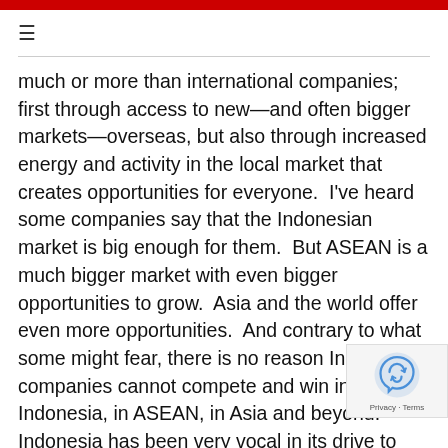≡
much or more than international companies; first through access to new—and often bigger markets—overseas, but also through increased energy and activity in the local market that creates opportunities for everyone.  I've heard some companies say that the Indonesian market is big enough for them.  But ASEAN is a much bigger market with even bigger opportunities to grow.  Asia and the world offer even more opportunities.  And contrary to what some might fear, there is no reason Indonesian companies cannot compete and win in Indonesia, in ASEAN, in Asia and beyond.  Indonesia has been very vocal in its drive to attract more investment, yet at the same time, Indonesia has introduced barriers, like local content regulation make it more difficult for global supply chains to include Indonesia.  As global competition for investment heats up,